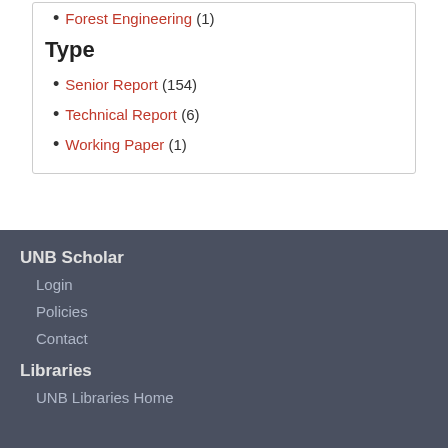Forest Engineering (1)
Type
Senior Report (154)
Technical Report (6)
Working Paper (1)
UNB Scholar
Login
Policies
Contact
Libraries
UNB Libraries Home